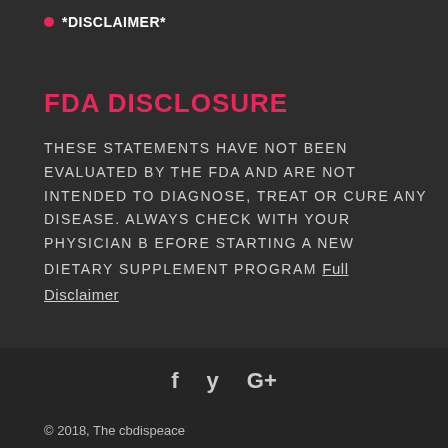*DISCLAIMER*
FDA DISCLOSURE
THESE STATEMENTS HAVE NOT BEEN EVALUATED BY THE FDA AND ARE NOT INTENDED TO DIAGNOSE, TREAT OR CURE ANY DISEASE. ALWAYS CHECK WITH YOUR PHYSICIAN B EFORE STARTING A NEW DIETARY SUPPLEMENT PROGRAM Full Disclaimer
f  y  G+  © 2018, The cbdispeace